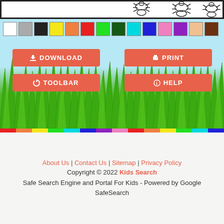[Figure (illustration): Coloring page interface showing a white drawing strip at top with cartoon bug outlines (ants/crabs), color swatches row (white, gray, black, yellow, orange, red, green, dark green, cyan, blue, pink, purple, peach, brown), action buttons (Download, Print, Toolbar, Help) overlaid on a grass/sky background scene, with a rainbow-colored strip at the bottom]
About Us | Contact Us | Sitemap | Privacy Policy
Copyright © 2022 Kids Search
Safe Search Engine and Portal For Kids - Powered by Google SafeSearch